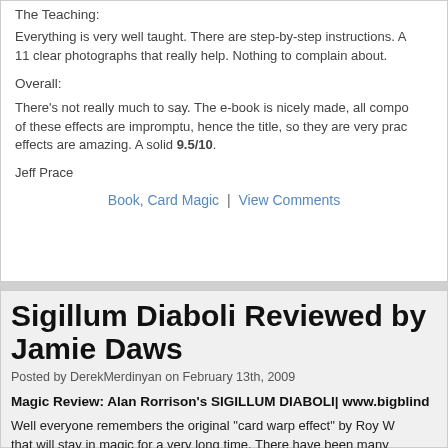The Teaching:
Everything is very well taught. There are step-by-step instructions. A 11 clear photographs that really help. Nothing to complain about.
Overall:
There's not really much to say. The e-book is nicely made, all compo of these effects are impromptu, hence the title, so they are very prac effects are amazing. A solid 9.5/10.
Jeff Prace
Book, Card Magic | View Comments
Sigillum Diaboli Reviewed by Jamie Daws
Posted by DerekMerdinyan on February 13th, 2009
Magic Review: Alan Rorrison's SIGILLUM DIABOLI| www.bigblind
Well everyone remembers the original "card warp effect" by Roy W that will stay in magic for a very long time. There have been many "card Warp" over the years, some successful and some not. I have hold of most versions of the effect. From the original Roy Walton C